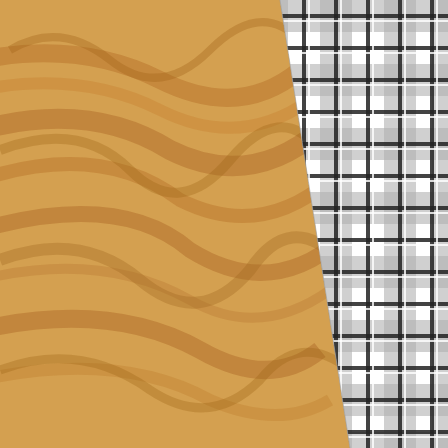[Figure (illustration): A split diagonal composition showing two textures side by side: the left portion is a natural light-brown wood grain (birch or maple plywood) with swirling grain patterns, and the right portion is a black, white, and gray plaid/tartan fabric pattern. The diagonal dividing line runs from approximately the upper-center to the lower-left area.]